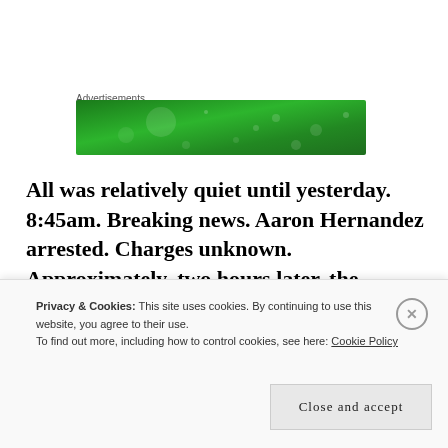Advertisements
[Figure (other): Green advertisement banner with gradient and light dot pattern]
All was relatively quiet until yesterday. 8:45am. Breaking news. Aaron Hernandez arrested. Charges unknown. Approximately, two hours later, the Patriots made a statement regarding Hernandez via Twitter. It simply said, “The New England Patriots
Privacy & Cookies: This site uses cookies. By continuing to use this website, you agree to their use.
To find out more, including how to control cookies, see here: Cookie Policy
Close and accept